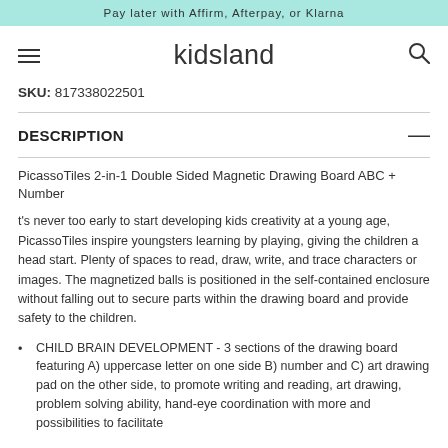Pay later with Affirm, Afterpay, or Klarna
[Figure (logo): kidsland logo with hamburger menu icon and search icon]
SKU: 817338022501
DESCRIPTION
PicassoTiles 2-in-1 Double Sided Magnetic Drawing Board ABC + Number
t's never too early to start developing kids creativity at a young age, PicassoTiles inspire youngsters learning by playing, giving the children a head start. Plenty of spaces to read, draw, write, and trace characters or images. The magnetized balls is positioned in the self-contained enclosure without falling out to secure parts within the drawing board and provide safety to the children.
CHILD BRAIN DEVELOPMENT - 3 sections of the drawing board featuring A) uppercase letter on one side B) number and C) art drawing pad on the other side, to promote writing and reading, art drawing, problem solving ability, hand-eye coordination with more and possibilities to facilitate